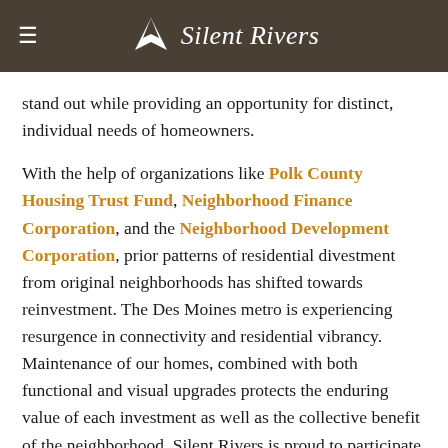≡  Silent Rivers
stand out while providing an opportunity for distinct, individual needs of homeowners.
With the help of organizations like Polk County Housing Trust Fund, Neighborhood Finance Corporation, and the Neighborhood Development Corporation, prior patterns of residential divestment from original neighborhoods has shifted towards reinvestment. The Des Moines metro is experiencing resurgence in connectivity and residential vibrancy. Maintenance of our homes, combined with both functional and visual upgrades protects the enduring value of each investment as well as the collective benefit of the neighborhood. Silent Rivers is proud to participate in changing Des Moines as we help homeowners remodel and improve their homes, one project at time.